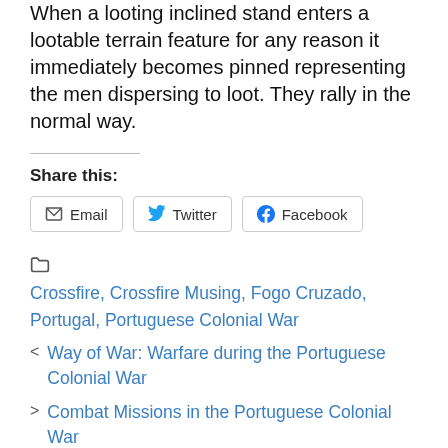When a looting inclined stand enters a lootable terrain feature for any reason it immediately becomes pinned representing the men dispersing to loot. They rally in the normal way.
Share this:
Email | Twitter | Facebook
Crossfire, Crossfire Musing, Fogo Cruzado, Portugal, Portuguese Colonial War
< Way of War: Warfare during the Portuguese Colonial War
> Combat Missions in the Portuguese Colonial War